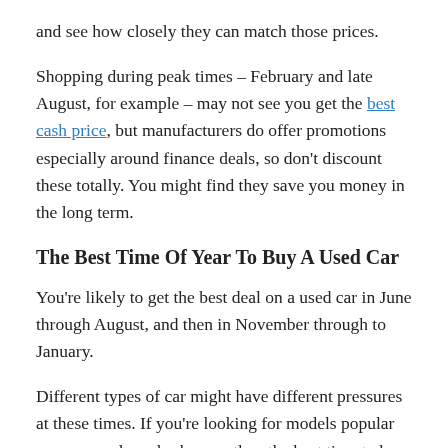and see how closely they can match those prices.
Shopping during peak times – February and late August, for example – may not see you get the best cash price, but manufacturers do offer promotions especially around finance deals, so don't discount these totally. You might find they save you money in the long term.
The Best Time Of Year To Buy A Used Car
You're likely to get the best deal on a used car in June through August, and then in November through to January.
Different types of car might have different pressures at these times. If you're looking for models popular on approved-used schemes, then the best time to buy is right before the new registration plates. These main dealers have the best stock, the